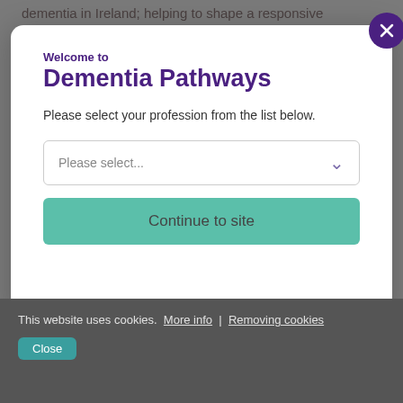dementia in Ireland; helping to shape a responsive
Welcome to Dementia Pathways
Please select your profession from the list below.
Please select...
Continue to site
and general oversight for the duration of the project. In addition to regular consultation with
This website uses cookies. More info | Removing cookies
Close